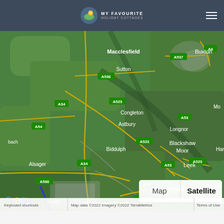My Favourite Holiday Cottages
[Figure (map): Satellite map view of Staffordshire and Cheshire area in England, showing towns including Macclesfield, Sutton, Buxton, Congleton, Astbury, Biddulph, Blackshaw Moor, Leek, Alsager, Cheddleton, Winkhill, Keele, Stoke-on-Trent, and Longnor. Road labels include A34, A54, A523, A536, A537, A53, A6, A34, A500, A52, M6. Map/Satellite toggle buttons visible bottom right. Google logo bottom left. Attribution bar at bottom: 'Keyboard shortcuts | Map data ©2022 Imagery ©2022 TerraMetrics | Terms of Use']